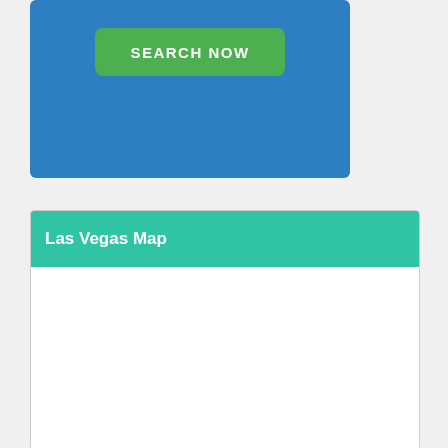[Figure (other): Blue banner section with a green 'SEARCH NOW' button centered within it]
Las Vegas Map
[Figure (map): Empty white map area placeholder for Las Vegas Map]